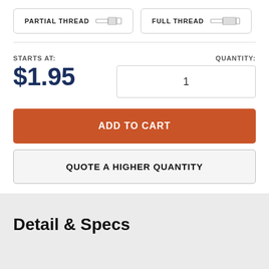[Figure (other): Two toggle buttons: 'PARTIAL THREAD' with a partial thread bolt icon and 'FULL THREAD' with a full thread bolt icon]
STARTS AT:
$1.95
QUANTITY: 1
ADD TO CART
QUOTE A HIGHER QUANTITY
Detail & Specs